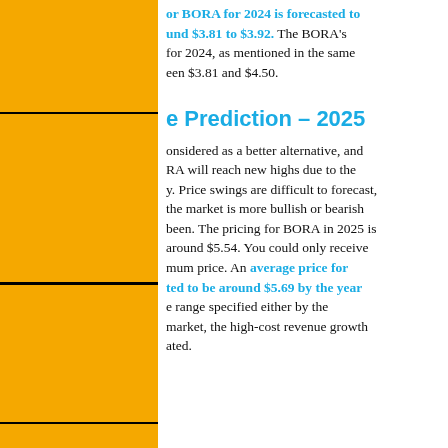or BORA for 2024 is forecasted to und $3.81 to $3.92. The BORA's for 2024, as mentioned in the same een $3.81 and $4.50.
e Prediction – 2025
onsidered as a better alternative, and RA will reach new highs due to the y. Price swings are difficult to forecast, the market is more bullish or bearish been. The pricing for BORA in 2025 is around $5.54. You could only receive mum price. An average price for ted to be around $5.69 by the year e range specified either by the market, the high-cost revenue growth ated.